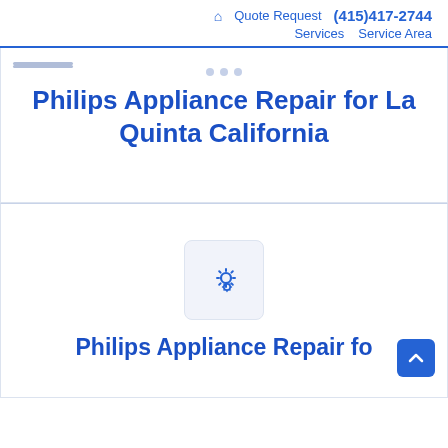🏠 Quote Request (415)417-2744 Services Service Area
Philips Appliance Repair for La Quinta California
[Figure (illustration): Gear/settings icon inside a rounded square box, representing appliance repair services]
Philips Appliance Repair for